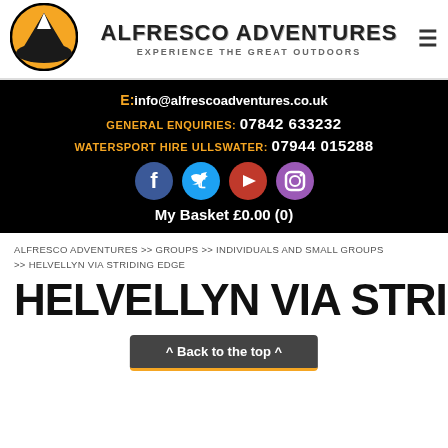[Figure (logo): Alfresco Adventures logo: circular badge with mountain silhouette on orange/yellow background, black border]
ALFRESCO ADVENTURES
EXPERIENCE THE GREAT OUTDOORS
E: info@alfrescoadventures.co.uk
GENERAL ENQUIRIES: 07842 633232
WATERSPORT HIRE ULLSWATER: 07944 015288
[Figure (illustration): Four social media icons: Facebook (blue circle), Twitter (light blue circle), YouTube (red circle), Instagram (purple circle)]
My Basket £0.00 (0)
ALFRESCO ADVENTURES >> GROUPS >> INDIVIDUALS AND SMALL GROUPS >> HELVELLYN VIA STRIDING EDGE
HELVELLYN VIA STRIDING
^ Back to the top ^